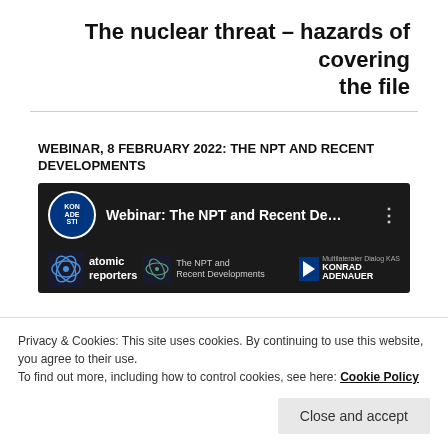The nuclear threat – hazards of covering the file
WEBINAR, 8 FEBRUARY 2022: THE NPT AND RECENT DEVELOPMENTS
[Figure (screenshot): YouTube video thumbnail showing 'Webinar: The NPT and Recent De...' with atomic reporters logo, KAS Konrad Adenauer logo, and video controls overlay]
Privacy & Cookies: This site uses cookies. By continuing to use this website, you agree to their use.
To find out more, including how to control cookies, see here: Cookie Policy
Close and accept